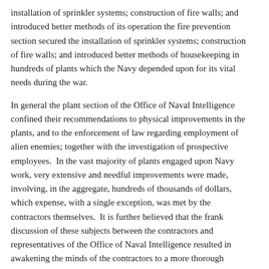installation of sprinkler systems; construction of fire walls; and introduced better methods of its operation the fire prevention section secured the installation of sprinkler systems; construction of fire walls; and introduced better methods of housekeeping in hundreds of plants which the Navy depended upon for its vital needs during the war.
In general the plant section of the Office of Naval Intelligence confined their recommendations to physical improvements in the plants, and to the enforcement of law regarding employment of alien enemies; together with the investigation of prospective employees. In the vast majority of plants engaged upon Navy work, very extensive and needful improvements were made, involving, in the aggregate, hundreds of thousands of dollars, which expense, with a single exception, was met by the contractors themselves. It is further believed that the frank discussion of these subjects between the contractors and representatives of the Office of Naval Intelligence resulted in awakening the minds of the contractors to a more thorough appreciation of the necessity of taking extensive precautions for the protection of their plants and in the selection of employees. Very loose methods had been the rule in the majority of plants prior to these improvements. As an example, in one plant alone over ninety alien enemies were interned for the duration of